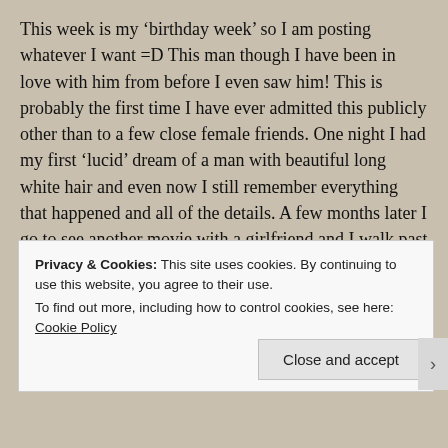This week is my 'birthday week' so I am posting whatever I want =D This man though I have been in love with him from before I even saw him! This is probably the first time I have ever admitted this publicly other than to a few close female friends. One night I had my first 'lucid' dream of a man with beautiful long white hair and even now I still remember everything that happened and all of the details. A few months later I go to see another movie with a girlfriend and I walk past this huge cardboard cut out of my dream man! A dream that I had previously told my friends about. It was one of the most freakiest moments of my life!
Privacy & Cookies: This site uses cookies. By continuing to use this website, you agree to their use.
To find out more, including how to control cookies, see here: Cookie Policy
Close and accept